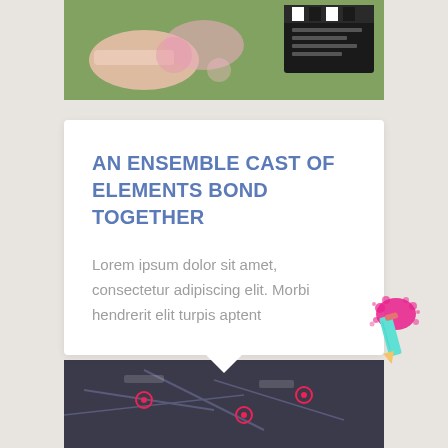[Figure (photo): Top photo showing hands and objects including a film clapperboard on a colorful background]
AN ENSEMBLE CAST OF ELEMENTS BOND TOGETHER
Lorem ipsum dolor sit amet, consectetur adipiscing elit. Morbi hendrerit elit turpis aptent
[Figure (illustration): Pencil icon with pink ink splatter — decorative sticker-style graphic]
[Figure (photo): Bottom photo showing a dark map or diagram with location pins]